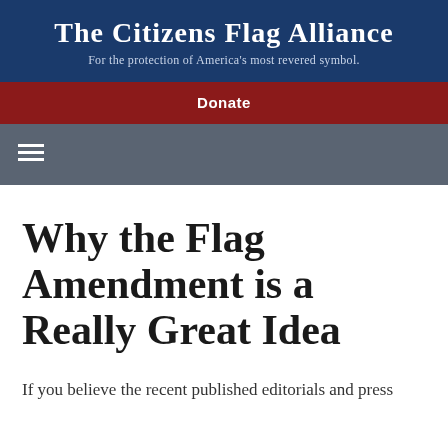The Citizens Flag Alliance
For the protection of America's most revered symbol.
Donate
Why the Flag Amendment is a Really Great Idea
If you believe the recent published editorials and press